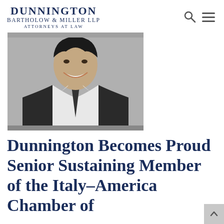DUNNINGTON BARTHOLOW & MILLER LLP ATTORNEYS AT LAW
[Figure (photo): Black and white professional headshot of a man in a dark suit and tie, smiling, cropped to show face and upper torso]
Dunnington Becomes Proud Senior Sustaining Member of the Italy–America Chamber of Commerce